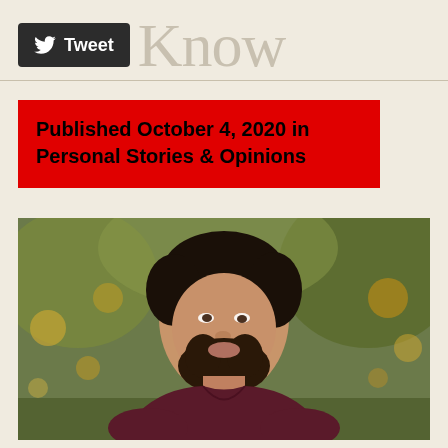Tweet  Know
Published October 4, 2020 in Personal Stories & Opinions
[Figure (photo): Outdoor portrait of a young bearded man with dark hair wearing a dark maroon v-neck t-shirt, looking to the side, with blurred trees and bokeh background.]